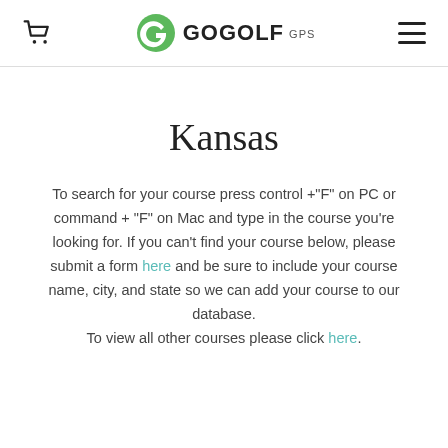GOGOLF GPS
Kansas
To search for your course press control +"F" on PC or command + "F" on Mac and type in the course you're looking for. If you can't find your course below, please submit a form here and be sure to include your course name, city, and state so we can add your course to our database. To view all other courses please click here.